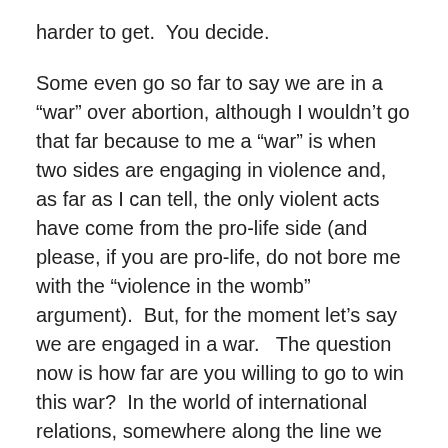harder to get.  You decide.
Some even go so far to say we are in a “war” over abortion, although I wouldn’t go that far because to me a “war” is when two sides are engaging in violence and, as far as I can tell, the only violent acts have come from the pro-life side (and please, if you are pro-life, do not bore me with the “violence in the womb” argument).  But, for the moment let’s say we are engaged in a war.   The question now is how far are you willing to go to win this war?  In the world of international relations, somewhere along the line we came up with the rules of the Geneva Convention which set some boundaries for conduct that warring parties are supposed to adhere to (although not everyone complies).  In this abortion “war”, I think there should be boundaries as well.  And recently, one pro-life group